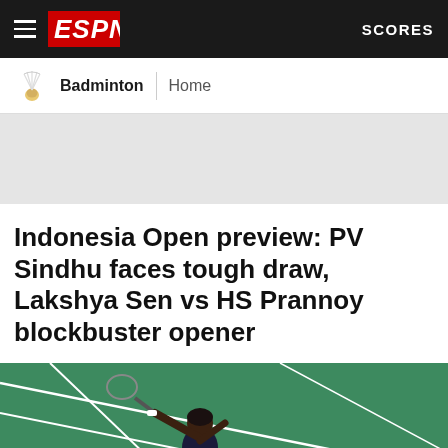ESPN — SCORES
Badminton | Home
[Figure (other): Gray advertisement banner area]
Indonesia Open preview: PV Sindhu faces tough draw, Lakshya Sen vs HS Prannoy blockbuster opener
[Figure (photo): Badminton player mid-jump on a green court, shot from above, holding a racket with arm extended]